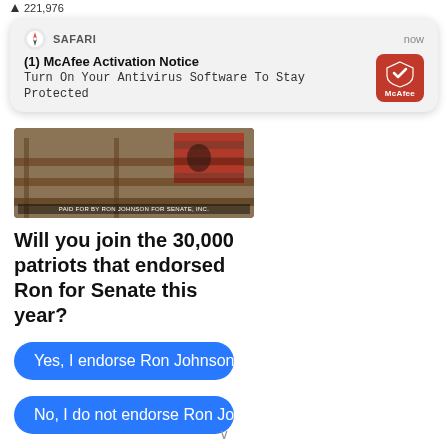221,976
[Figure (screenshot): iOS Safari browser notification popup: '(1) McAfee Activation Notice — Turn On Your Antivirus Software To Stay Protected' with McAfee red icon on right, timestamp 'now']
[Figure (photo): Article thumbnail image showing wooden courthouse benches and American flag]
Will you join the 30,000 patriots that endorsed Ron for Senate this year?
Yes, I endorse Ron Johnson
No, I do not endorse Ron Johnson
I'm not sure
1,515 Votes